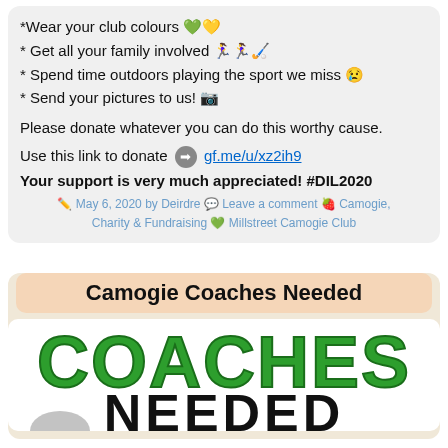*Wear your club colours 💚💛
* Get all your family involved 👩‍🦯👩‍🦯🏏
* Spend time outdoors playing the sport we miss 😢
* Send your pictures to us! 📷
Please donate whatever you can do this worthy cause.
Use this link to donate ➡️ gf.me/u/xz2ih9
Your support is very much appreciated! #DIL2020
May 6, 2020 by Deirdre 💬 Leave a comment 🍓 Camogie, Charity & Fundraising 💎 Millstreet Camogie Club
Camogie Coaches Needed
[Figure (illustration): Large bold green text reading COACHES and NEEDED below, with a figure at the bottom]